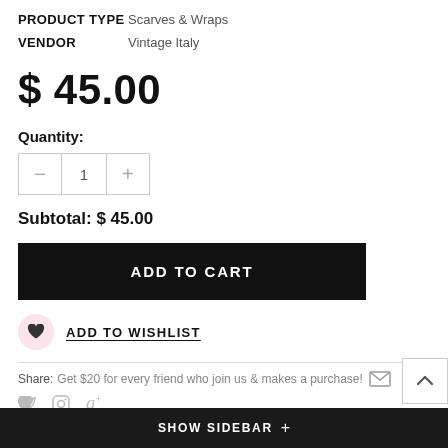PRODUCT TYPE  Scarves & Wraps
VENDOR  Vintage Italy
$ 45.00
Quantity:
Subtotal: $ 45.00
ADD TO CART
ADD TO WISHLIST
Share: Get $20 for every friend who join us & makes a purchase!
SHOW SIDEBAR +